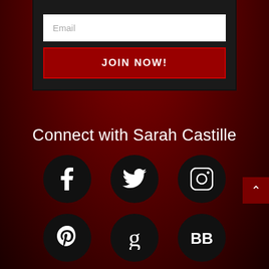[Figure (screenshot): Email signup form with white email input field and dark red JOIN NOW button, inside a dark panel with a red downward triangle at top]
Connect with Sarah Castille
[Figure (infographic): Six social media icons in black circles: Facebook, Twitter, Instagram (top row), Pinterest, Goodreads, BookBub (bottom row)]
[Figure (other): Back to top arrow button in dark red on right side]